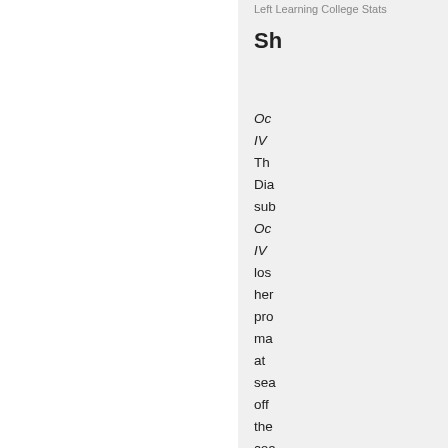Left Learning College Stats
Sh
Oc IV Th Dia sub Oc IV los her pro ma at sea off the coa of Pa Wh no cre has